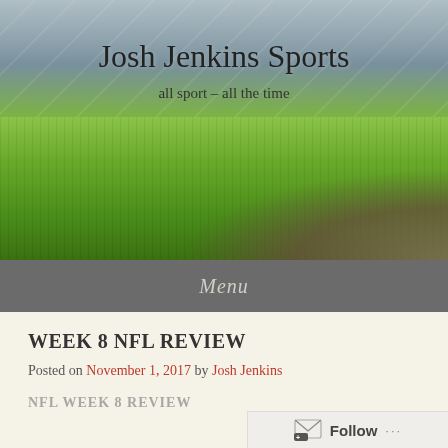Josh Jenkins Sports
all sport – all the time
Menu
WEEK 8 NFL REVIEW
Posted on November 1, 2017 by Josh Jenkins
NFL WEEK 8 REVIEW